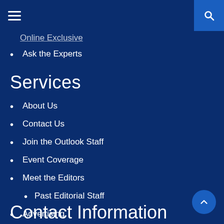[hamburger menu] [search icon]
Online Exclusive
Ask the Experts
Services
About Us
Contact Us
Join the Outlook Staff
Event Coverage
Meet the Editors
Past Editorial Staff
Advertising
Archive
Privacy Policy
Contact Information